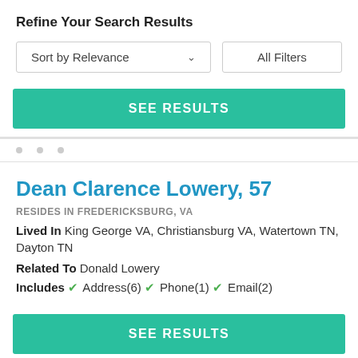Refine Your Search Results
Sort by Relevance  ∨    All Filters
SEE RESULTS
Dean Clarence Lowery, 57
RESIDES IN FREDERICKSBURG, VA
Lived In King George VA, Christiansburg VA, Watertown TN, Dayton TN
Related To Donald Lowery
Includes ✓ Address(6) ✓ Phone(1) ✓ Email(2)
SEE RESULTS